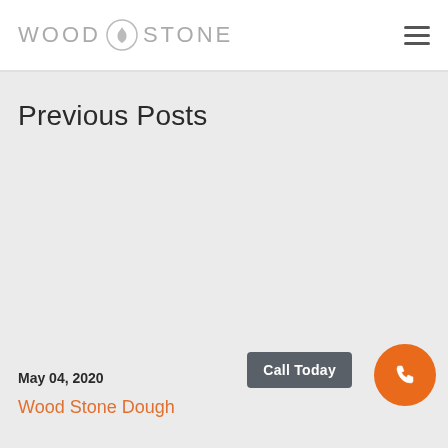WOOD STONE
Previous Posts
May 04, 2020
Wood Stone Dough
Call Today